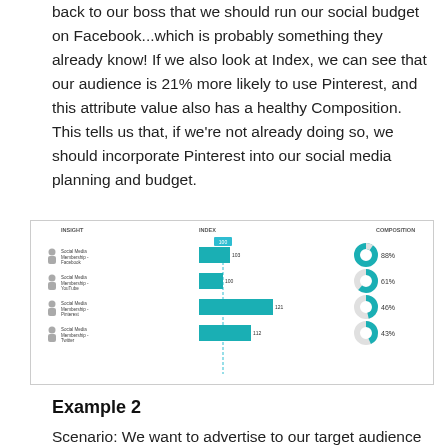back to our boss that we should run our social budget on Facebook...which is probably something they already know! If we also look at Index, we can see that our audience is 21% more likely to use Pinterest, and this attribute value also has a healthy Composition. This tells us that, if we're not already doing so, we should incorporate Pinterest into our social media planning and budget.
[Figure (bar-chart): ]
Example 2
Scenario: We want to advertise to our target audience on a streaming service. Our analysis reveals that 20% of our audience uses Spotify and 19% uses Amazon Prime to download or stream music. While these Composition